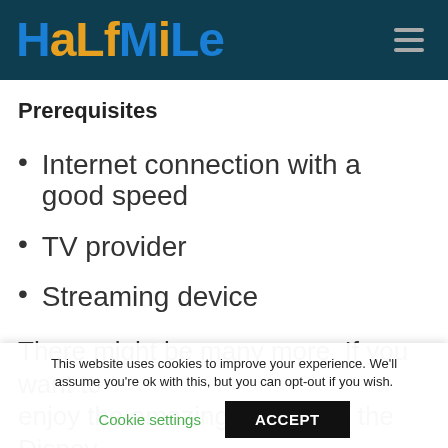HaLfMiLe
Prerequisites
Internet connection with a good speed
TV provider
Streaming device
There might be many more. If you want to enjoy the amazing content of the Disney
This website uses cookies to improve your experience. We'll assume you're ok with this, but you can opt-out if you wish.
Cookie settings  ACCEPT